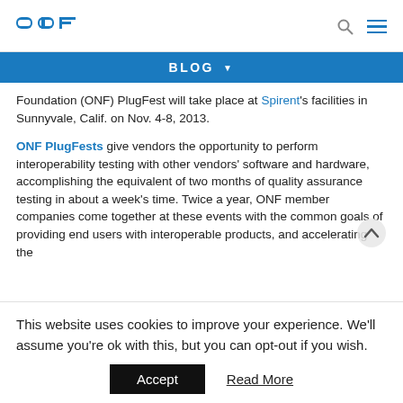ONF [logo] | search icon | menu icon
BLOG ▼
Foundation (ONF) PlugFest will take place at Spirent's facilities in Sunnyvale, Calif. on Nov. 4-8, 2013.
ONF PlugFests give vendors the opportunity to perform interoperability testing with other vendors' software and hardware, accomplishing the equivalent of two months of quality assurance testing in about a week's time. Twice a year, ONF member companies come together at these events with the common goals of providing end users with interoperable products, and accelerating the
This website uses cookies to improve your experience. We'll assume you're ok with this, but you can opt-out if you wish.
Accept   Read More